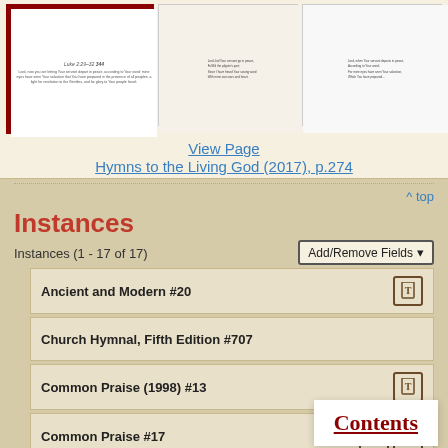[Figure (screenshot): Three page preview thumbnails of hymn book pages]
View Page
Hymns to the Living God (2017), p.274
^ top
Instances
Instances (1 - 17 of 17)
Add/Remove Fields ▾
Ancient and Modern #20
Church Hymnal, Fifth Edition #707
Common Praise (1998) #13
Common Praise #17
Evangelical Lutheran Hymnary #572
Glory to God #672
Hymns to the Living God #343
Contents